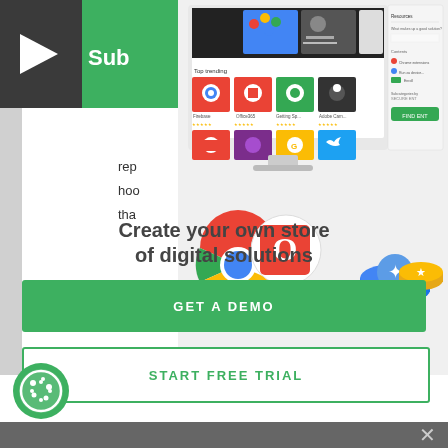[Figure (screenshot): Website screenshot showing a software marketplace/store interface on a computer monitor with app icons including Google Chrome and Microsoft Office logos, displayed on a desktop monitor with colorful app tiles]
rep
hoo
tha
Create your own store of digital solutions
[Figure (other): GET A DEMO button - green filled rectangle button]
[Figure (other): START FREE TRIAL button - white rectangle with green border]
[Figure (logo): Cookie icon - white cookie symbol on green circle]